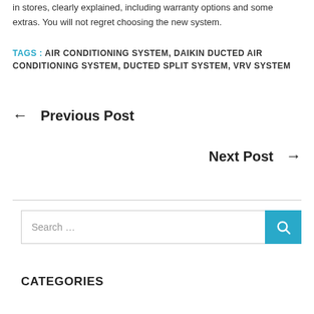in stores, clearly explained, including warranty options and some extras. You will not regret choosing the new system.
TAGS : AIR CONDITIONING SYSTEM, DAIKIN DUCTED AIR CONDITIONING SYSTEM, DUCTED SPLIT SYSTEM, VRV SYSTEM
← Previous Post
Next Post →
Search …
CATEGORIES